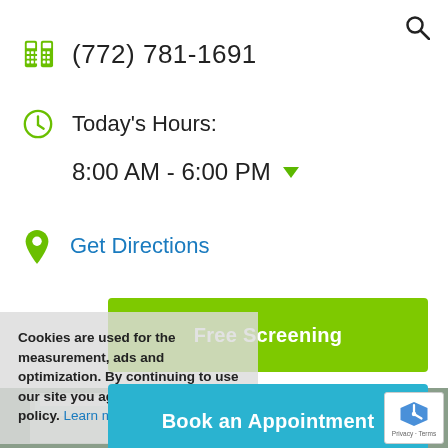(772) 781-1691
Today's Hours:
8:00 AM - 6:00 PM
Get Directions
Free Screening
Book an Appointment
Cookies are used for the measurement, ads and optimization. By continuing to use our site you agree to our privacy policy. Learn more
[Figure (photo): Storefront exterior of a health clinic or pharmacy showing glass doors and entrance numbered 8615]